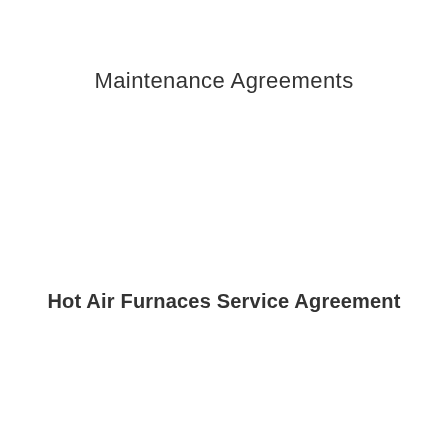Maintenance Agreements
Hot Air Furnaces Service Agreement